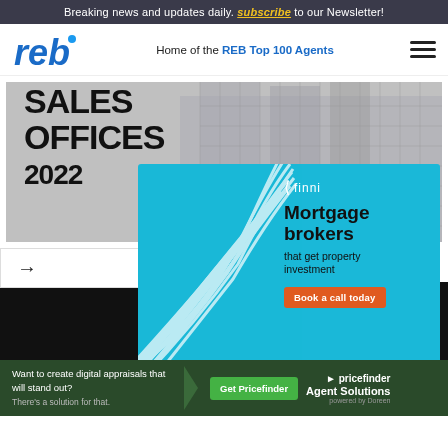Breaking news and updates daily. subscribe to our Newsletter!
[Figure (logo): REB logo - blue stylized text 'reb' with dot]
Home of the REB Top 100 Agents
[Figure (illustration): Sales Offices 2022 banner with building background image]
[Figure (infographic): Finni mortgage brokers advertisement - cyan background with wave lines pattern. Text: Mortgage brokers that get property investment. Book a call today button.]
[Figure (infographic): Dark background ad with colorful house logo icon]
[Figure (infographic): Pricefinder Agent Solutions advertisement bar - Want to create digital appraisals that will stand out? There's a solution for that. Get Pricefinder button.]